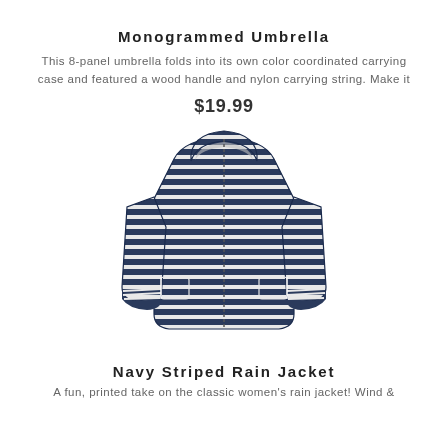Monogrammed Umbrella
This 8-panel umbrella folds into its own color coordinated carrying case and featured a wood handle and nylon carrying string. Make it
$19.99
[Figure (photo): Navy and white horizontally striped women's rain jacket with hood, front zipper, and cuffed sleeves]
Navy Striped Rain Jacket
A fun, printed take on the classic women's rain jacket! Wind &